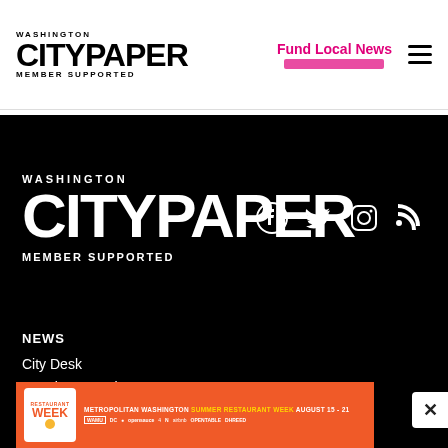WASHINGTON CITYPAPER MEMBER SUPPORTED
Fund Local News
[Figure (logo): Washington City Paper Member Supported logo in white on black background with social media icons (Facebook, Twitter, Instagram, RSS)]
NEWS
City Desk
Housing Complex
Loose Lips
[Figure (infographic): Metropolitan Washington Summer Restaurant Week advertisement banner, August 15-21, orange/red background with sponsor logos]